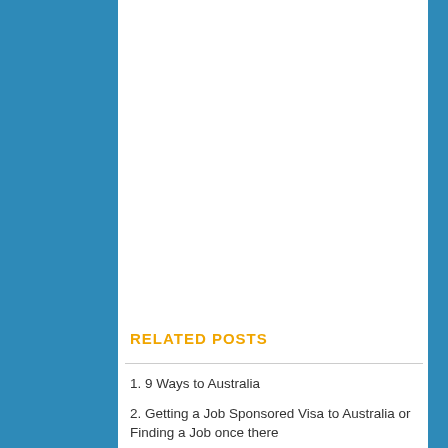RELATED POSTS
1. 9 Ways to Australia
2. Getting a Job Sponsored Visa to Australia or Finding a Job once there